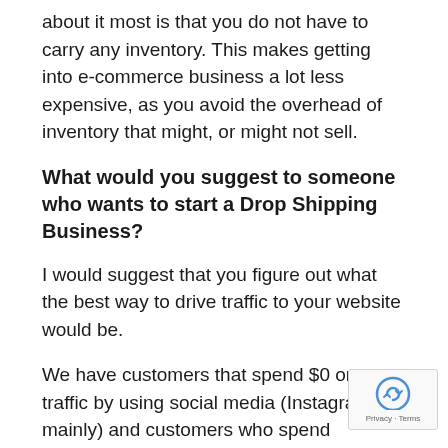about it most is that you do not have to carry any inventory. This makes getting into e-commerce business a lot less expensive, as you avoid the overhead of inventory that might, or might not sell.
What would you suggest to someone who wants to start a Drop Shipping Business?
I would suggest that you figure out what the best way to drive traffic to your website would be.
We have customers that spend $0 on traffic by using social media (Instagram mainly) and customers who spend thousands on ads.
It is all up to you, and your budget. Obviously, with traffic will come quicker, but it will cost you. So te...